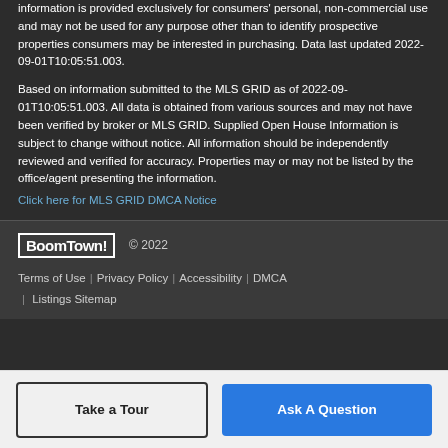information is provided exclusively for consumers' personal, non-commercial use and may not be used for any purpose other than to identify prospective properties consumers may be interested in purchasing. Data last updated 2022-09-01T10:05:51.003.
Based on information submitted to the MLS GRID as of 2022-09-01T10:05:51.003. All data is obtained from various sources and may not have been verified by broker or MLS GRID. Supplied Open House Information is subject to change without notice. All information should be independently reviewed and verified for accuracy. Properties may or may not be listed by the office/agent presenting the information.
Click here for MLS GRID DMCA Notice
BoomTown! © 2022
Terms of Use | Privacy Policy | Accessibility | DMCA | Listings Sitemap
Take a Tour
Ask A Question